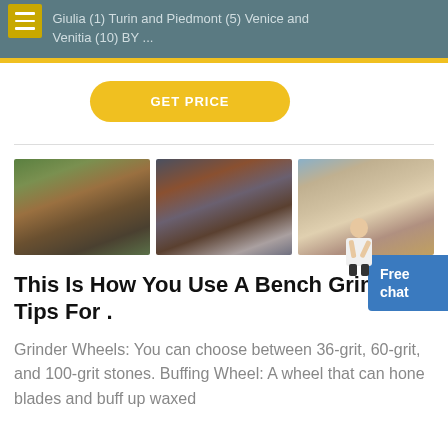Giulia (1) Turin and Piedmont (5) Venice and Venitia (10) BY ...
GET PRICE
[Figure (photo): Three photos of mining/quarry/industrial equipment sites side by side]
This Is How You Use A Bench Grinder – Tips For .
Grinder Wheels: You can choose between 36-grit, 60-grit, and 100-grit stones. Buffing Wheel: A wheel that can hone blades and buff up waxed